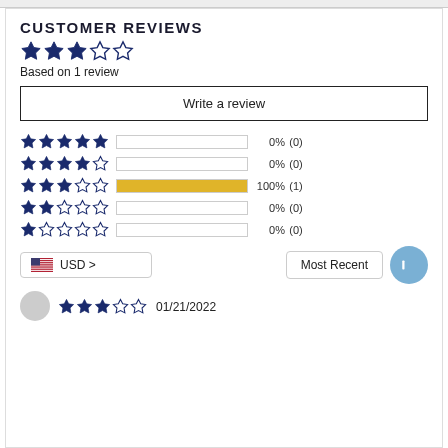CUSTOMER REVIEWS
[Figure (other): 3.5 out of 5 stars rating display (3 filled stars, 1 half star, 1 empty star)]
Based on 1 review
Write a review
[Figure (bar-chart): Star rating distribution]
Most Recent
USD >
01/21/2022